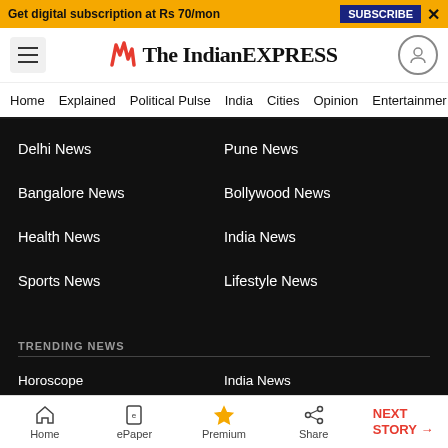Get digital subscription at Rs 70/mon  SUBSCRIBE  ×
[Figure (logo): The Indian Express logo with red flame mark]
Home  Explained  Political Pulse  India  Cities  Opinion  Entertainment
Delhi News
Pune News
Bangalore News
Bollywood News
Health News
India News
Sports News
Lifestyle News
TRENDING NEWS
Horoscope
India News
Art & Craft Classes For Kids
Fitness Classes For Kids
Dance Classes For Kids
Entertainment News
Home  ePaper  Premium  Share  NEXT STORY →